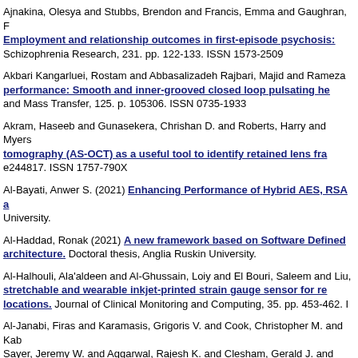Ajnakina, Olesya and Stubbs, Brendon and Francis, Emma and Gaughran, F... Employment and relationship outcomes in first-episode psychosis: Schizophrenia Research, 231. pp. 122-133. ISSN 1573-2509
Akbari Kangarluei, Rostam and Abbasalizadeh Rajbari, Majid and Ramezan... performance: Smooth and inner-grooved closed loop pulsating he... and Mass Transfer, 125. p. 105306. ISSN 0735-1933
Akram, Haseeb and Gunasekera, Chrishan D. and Roberts, Harry and Myers... tomography (AS‑OCT) as a useful tool to identify retained lens fra... e244817. ISSN 1757-790X
Al-Bayati, Anwer S. (2021) Enhancing Performance of Hybrid AES, RSA a... University.
Al-Haddad, Ronak (2021) A new framework based on Software Defined... architecture. Doctoral thesis, Anglia Ruskin University.
Al-Halhouli, Ala'aldeen and Al-Ghussain, Loiy and El Bouri, Saleem and Liu,... stretchable and wearable inkjet-printed strain gauge sensor for re... locations. Journal of Clinical Monitoring and Computing, 35. pp. 453-462. I...
Al-Janabi, Firas and Karamasis, Grigoris V. and Cook, Christopher M. and Kab... Sayer, Jeremy W. and Aggarwal, Rajesh K. and Clesham, Gerald J. and Kelly... and Davies, John R. (2021) Coronary artery height differences and thei... 41-48. ISSN 1898-018X
Aldosari, Houriah (2021) The role of semantic transparency in the acq... Anglia Ruskin University.